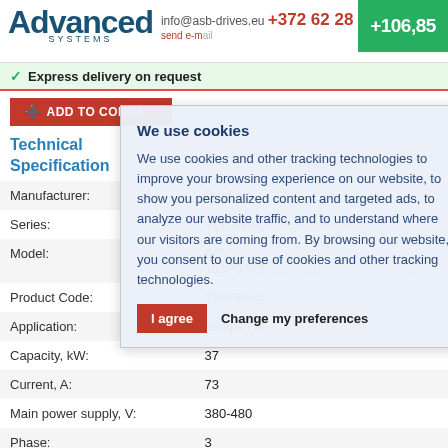Advanced SYSTEMS | info@asb-drives.eu | +372 62 28 220 | send e-mail | +106,85
✓ Express delivery on request
ADD TO COMPARE
Technical Specification
| Property | Value |
| --- | --- |
| Manufacturer: | Danfoss |
| Series: | VLT Refrig... |
| Model: | FC-103P37KT... |
| Product Code: | 134F8984... |
| Application: | pumps / fa... |
| Capacity, kW: | 37 |
| Current, A: | 73 |
| Main power supply, V: | 380-480 |
| Phase: | 3 |
| Output frequency, Hz: | 0-590 |
| Enclosure: | IP55 |
| Overload capacity, % per 1 min.: | 110 |
| Acceleration time, sec: | 1-3600 |
We use cookies

We use cookies and other tracking technologies to improve your browsing experience on our website, to show you personalized content and targeted ads, to analyze our website traffic, and to understand where our visitors are coming from. By browsing our website, you consent to our use of cookies and other tracking technologies.

I agree | Change my preferences